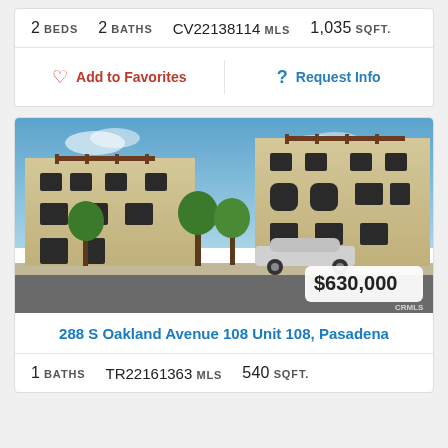2 BEDS  2 BATHS  CV22138114 MLS  1,035 SQFT.
Add to Favorites  |  Request Info
[Figure (photo): Exterior photo of a Mediterranean-style multi-unit residential building with tan stucco walls, dark-framed windows, wood pergola accents, trees in front, and a silver sedan parked on the street. Price badge shows $630,000 in lower right corner. CRMLS watermark.]
288 S Oakland Avenue 108 Unit 108, Pasadena
1 BATHS  TR22161363 MLS  540 SQFT.